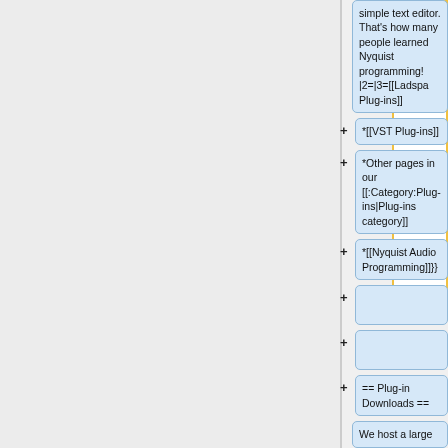[Figure (screenshot): Yellow-bordered white rectangle (wiki editor area)]
simple text editor. That's how many people learned Nyquist programming! |2=|3=[[Ladspa Plug-ins]]
*[[VST Plug-ins]]
*Other pages in our [[:Category:Plug-ins|Plug-ins category]]
*[[Nyquist Audio Programming]]}
== Plug-in Downloads ==
We host a large